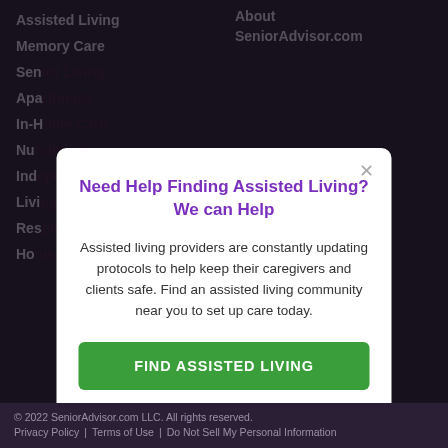Assisted Living
Memory Care
Sen...
Apa...
In-H...
Nur...
Ind...
Livi...
Res...
Hor...
About SeniorAdvisor.com
Need Help Finding Assisted Living? We can Help
Assisted living providers are constantly updating protocols to help keep their caregivers and clients safe. Find an assisted living community near you to set up care today.
FIND ASSISTED LIVING
© 2022 SeniorAdvisor.com LLC. All rights reserved.
Privacy Policy | Terms of Use | Do Not Sell My Personal Information